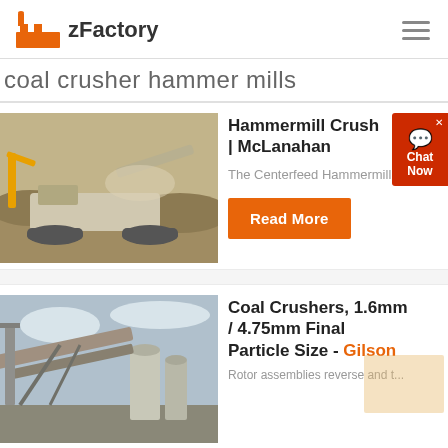zFactory
coal crusher hammer mills
[Figure (photo): Mobile crusher/screening machine working at a quarry/mining site, outdoors with rocky terrain and dust visible.]
Hammermill Crush | McLanahan
The Centerfeed Hammermill is a...
Read More
[Figure (photo): Industrial coal crushing facility with conveyor belts and silos, viewed from ground level under a cloudy sky.]
Coal Crushers, 1.6mm / 4.75mm Final Particle Size - Gilson
Rotor assemblies reverse and t...